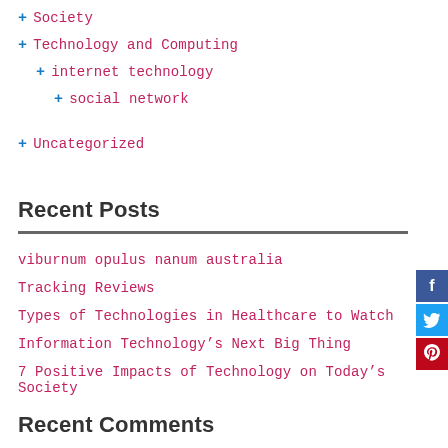+ Society
+ Technology and Computing
+ internet technology
+ social network
+ Uncategorized
Recent Posts
viburnum opulus nanum australia
Tracking Reviews
Types of Technologies in Healthcare to Watch
Information Technology's Next Big Thing
7 Positive Impacts of Technology on Today's Society
Recent Comments